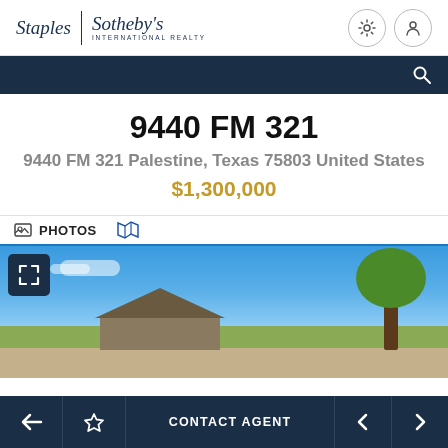[Figure (logo): Staples Sotheby's International Realty logo with gear and profile icons]
[Figure (screenshot): Dark navy navigation bar with search icon]
9440 FM 321
9440 FM 321 Palestine, Texas 75803 United States
$1,300,000
[Figure (screenshot): PHOTOS tab selected with map icon tab, blue underline]
[Figure (photo): Exterior photo of property at 9440 FM 321 showing trees and buildings under blue sky]
[Figure (screenshot): Bottom navigation bar with back, favorite, Contact Agent, prev and next buttons]